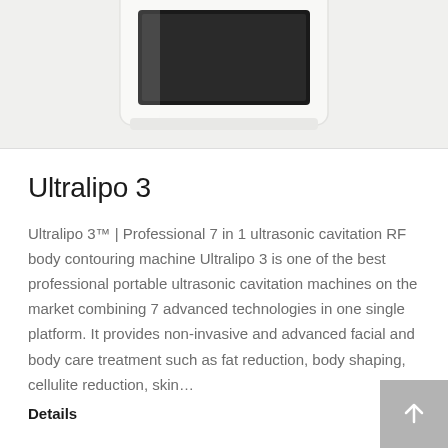[Figure (photo): Product photo of Ultralipo 3 device, a white medical/beauty device shown from above against a light gray background]
Ultralipo 3
Ultralipo 3™ | Professional 7 in 1 ultrasonic cavitation RF body contouring machine Ultralipo 3 is one of the best professional portable ultrasonic cavitation machines on the market combining 7 advanced technologies in one single platform. It provides non-invasive and advanced facial and body care treatment such as fat reduction, body shaping, cellulite reduction, skin…
Details